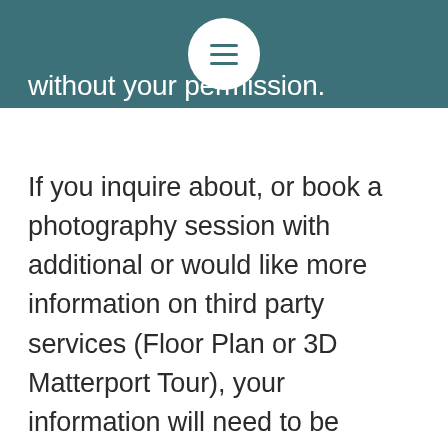without your permission.
If you inquire about, or book a photography session with additional or would like more information on third party services (Floor Plan or 3D Matterport Tour), your information will need to be shared with these third-party providers. Information includes, but is not exclusive to; Full Name, Contact Details (phone and email) and Address. This